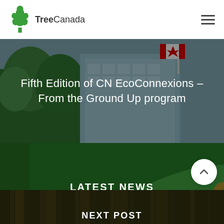[Figure (logo): Tree Canada logo: green stylized tree icon with text 'TreeCanada']
Fifth Edition of CN EcoConnexions – From the Ground Up program
[Figure (photo): Background photo of trees and a building with a Canadian flag, used as hero banner]
LATEST NEWS
[Figure (photo): Close-up photo of green leaf with water droplets used as background for Latest News section]
NEXT POST
[Figure (photo): Dark forest photo used as background for Next Post section]